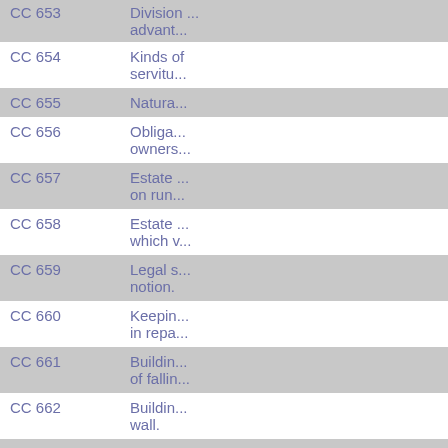| Code | Description |
| --- | --- |
| CC 653 | Division ... advant... |
| CC 654 | Kinds of servitu... |
| CC 655 | Natura... |
| CC 656 | Obliga... owners... |
| CC 657 | Estate ... on run... |
| CC 658 | Estate ... which v... |
| CC 659 | Legal s... notion. |
| CC 660 | Keepin... in repa... |
| CC 661 | Buildin... of fallin... |
| CC 662 | Buildin... wall. |
| CC 663 | Project... bounda... |
| CC 664 | Rain d... roof. |
| CC 665 | Legal p... |